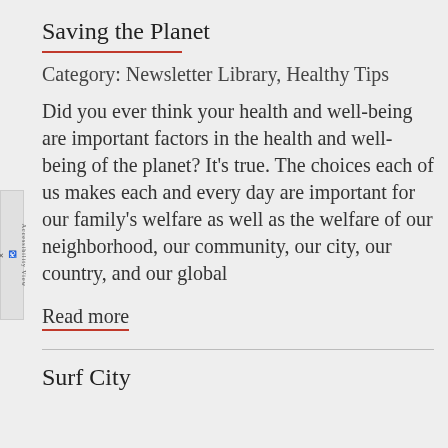Saving the Planet
Category: Newsletter Library, Healthy Tips
Did you ever think your health and well-being are important factors in the health and well-being of the planet? It's true. The choices each of us makes each and every day are important for our family's welfare as well as the welfare of our neighborhood, our community, our city, our country, and our global
Read more
Surf City